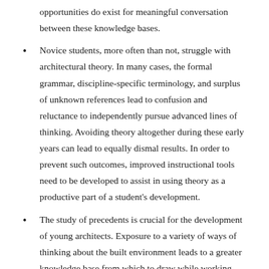opportunities do exist for meaningful conversation between these knowledge bases.
Novice students, more often than not, struggle with architectural theory. In many cases, the formal grammar, discipline-specific terminology, and surplus of unknown references lead to confusion and reluctance to independently pursue advanced lines of thinking. Avoiding theory altogether during these early years can lead to equally dismal results. In order to prevent such outcomes, improved instructional tools need to be developed to assist in using theory as a productive part of a student's development.
The study of precedents is crucial for the development of young architects. Exposure to a variety of ways of thinking about the built environment leads to a greater knowledge base from which to draw while working. These studies,